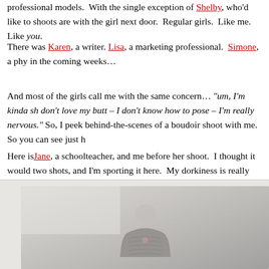professional models.  With the single exception of Shelby, who'd like to shoots are with the girl next door.  Regular girls.  Like me.  Like you.
There was Karen, a writer. Lisa, a marketing professional.  Simone, a phy in the coming weeks…
And most of the girls call me with the same concern… "um, I'm kinda sh don't love my butt – I don't know how to pose – I'm really nervous." So, I peek behind-the-scenes of a boudoir shoot with me.  So you can see just h
Here is Jane, a schoolteacher, and me before her shoot.  I thought it would two shots, and I'm sporting it here.  My dorkiness is really shining throug worse, my shirt is inside out.  Jeesh – can't take me anywhere.
[Figure (photo): Behind-the-scenes photo from a boudoir shoot, showing two people in a light-colored room. A figure in a grey knit top is visible in the lower portion of the image.]